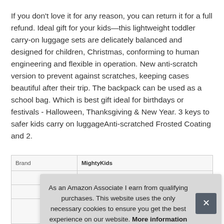If you don't love it for any reason, you can return it for a full refund. Ideal gift for your kids―this lightweight toddler carry-on luggage sets are delicately balanced and designed for children, Christmas, conforming to human engineering and flexible in operation. New anti-scratch version to prevent against scratches, keeping cases beautiful after their trip. The backpack can be used as a school bag. Which is best gift ideal for birthdays or festivals - Halloween, Thanksgiving & New Year. 3 keys to safer kids carry on luggageAnti-scratched Frosted Coating and 2.
| Brand | MightyKids... |
| --- | --- |
|  |  |
|  |  |
|  |  |
As an Amazon Associate I earn from qualifying purchases. This website uses the only necessary cookies to ensure you get the best experience on our website. More information